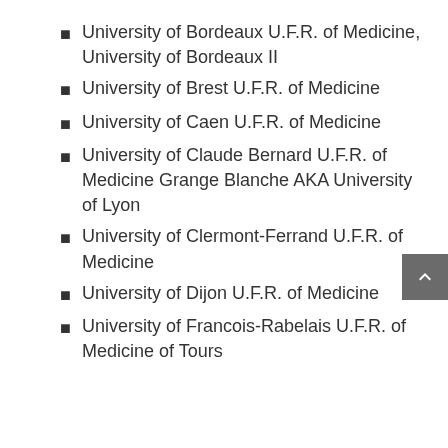University of Bordeaux U.F.R. of Medicine, University of Bordeaux II
University of Brest U.F.R. of Medicine
University of Caen U.F.R. of Medicine
University of Claude Bernard U.F.R. of Medicine Grange Blanche AKA University of Lyon
University of Clermont-Ferrand U.F.R. of Medicine
University of Dijon U.F.R. of Medicine
University of Francois-Rabelais U.F.R. of Medicine of Tours